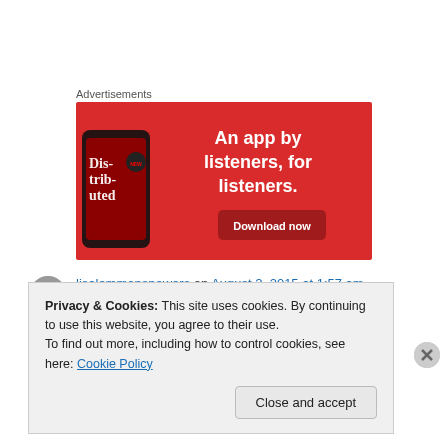Advertisements
[Figure (illustration): Red advertisement banner for a podcast app showing a smartphone with 'Dis-tri-buted' text, with headline 'An app by listeners, for listeners.' and a 'Download now' button]
lisalemmonspowers on August 2, 2015 at 1:57 am
Privacy & Cookies: This site uses cookies. By continuing to use this website, you agree to their use.
To find out more, including how to control cookies, see here: Cookie Policy